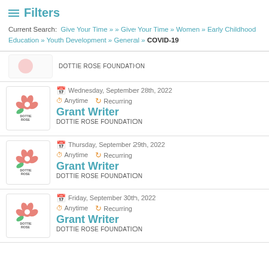Filters
Current Search: Give Your Time » » Give Your Time » Women » Early Childhood Education » Youth Development » General » COVID-19
DOTTIE ROSE FOUNDATION
Wednesday, September 28th, 2022 | Anytime | Recurring | Grant Writer | DOTTIE ROSE FOUNDATION
Thursday, September 29th, 2022 | Anytime | Recurring | Grant Writer | DOTTIE ROSE FOUNDATION
Friday, September 30th, 2022 | Anytime | Recurring | Grant Writer | DOTTIE ROSE FOUNDATION